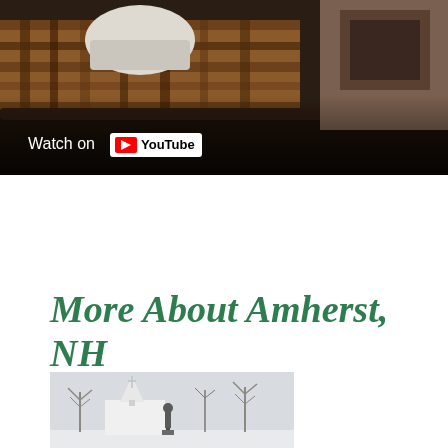[Figure (screenshot): YouTube video thumbnail showing an interior living room scene with plaid fabric, a white chair, and dark leather furniture. A 'Watch on YouTube' overlay badge appears at the bottom left.]
More About Amherst, NH
[Figure (photo): Winter photo of Amherst, NH town center showing a church with a white steeple, bare trees, and a statue in the foreground against a pale sky.]